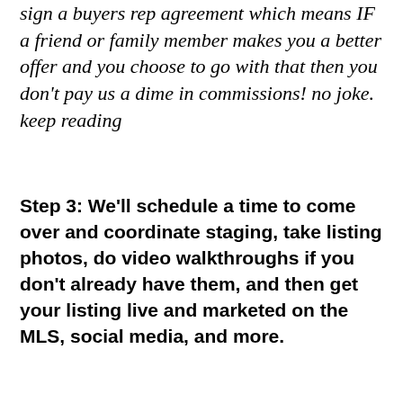sign a buyers rep agreement which means IF a friend or family member makes you a better offer and you choose to go with that then you don't pay us a dime in commissions! no joke. keep reading
Step 3: We'll schedule a time to come over and coordinate staging, take listing photos, do video walkthroughs if you don't already have them, and then get your listing live and marketed on the MLS, social media, and more.